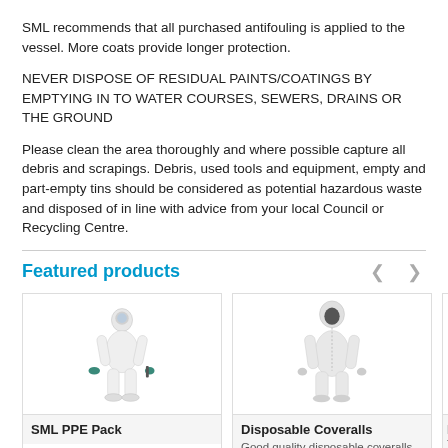SML recommends that all purchased antifouling is applied to the vessel. More coats provide longer protection.
NEVER DISPOSE OF RESIDUAL PAINTS/COATINGS BY EMPTYING IN TO WATER COURSES, SEWERS, DRAINS OR THE GROUND
Please clean the area thoroughly and where possible capture all debris and scrapings. Debris, used tools and equipment, empty and part-empty tins should be considered as potential hazardous waste and disposed of in line with advice from your local Council or Recycling Centre.
Featured products
[Figure (photo): Person wearing white full-body protective suit (PPE) with green gloves and face protection]
SML PPE Pack
[Figure (photo): Person wearing white disposable coverall with hood]
Disposable Coveralls — Good quality disposable coveralls available in the...
Di... To...